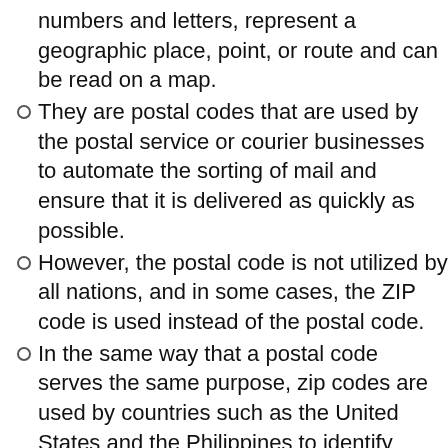numbers and letters, represent a geographic place, point, or route and can be read on a map.
They are postal codes that are used by the postal service or courier businesses to automate the sorting of mail and ensure that it is delivered as quickly as possible.
However, the postal code is not utilized by all nations, and in some cases, the ZIP code is used instead of the postal code.
In the same way that a postal code serves the same purpose, zip codes are used by countries such as the United States and the Philippines to identify locations.
When it comes to postal codes and zip codes, there is a very fine line between them.
Although they are different, both are used for routing and sorting mail and for assessing the time and cost.